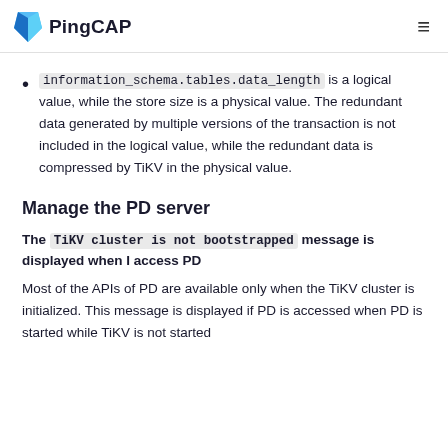PingCAP
information_schema.tables.data_length is a logical value, while the store size is a physical value. The redundant data generated by multiple versions of the transaction is not included in the logical value, while the redundant data is compressed by TiKV in the physical value.
Manage the PD server
The TiKV cluster is not bootstrapped message is displayed when I access PD
Most of the APIs of PD are available only when the TiKV cluster is initialized. This message is displayed if PD is accessed when PD is started while TiKV is not started